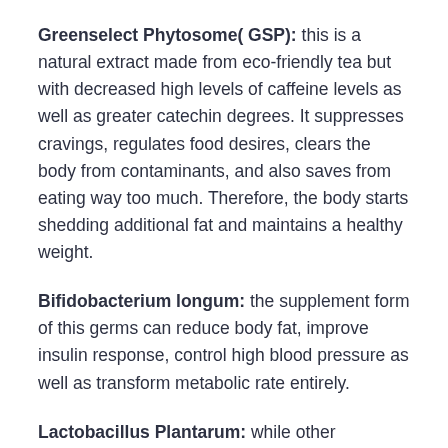Greenselect Phytosome( GSP): this is a natural extract made from eco-friendly tea but with decreased high levels of caffeine levels as well as greater catechin degrees. It suppresses cravings, regulates food desires, clears the body from contaminants, and also saves from eating way too much. Therefore, the body starts shedding additional fat and maintains a healthy weight.
Bifidobacterium longum: the supplement form of this germs can reduce body fat, improve insulin response, control high blood pressure as well as transform metabolic rate entirely.
Lactobacillus Plantarum: while other LeanBiome components work with weight reduction, this